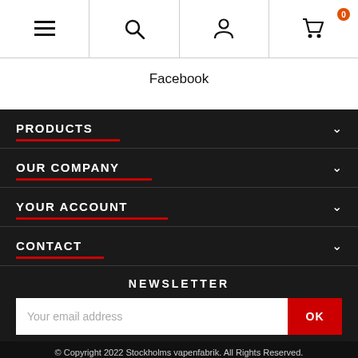Navigation bar with hamburger menu, search, account, and cart (0) icons
Facebook
PRODUCTS
OUR COMPANY
YOUR ACCOUNT
CONTACT
NEWSLETTER
Your email address
© Copyright 2022 Stockholms vapenfabrik. All Rights Reserved.